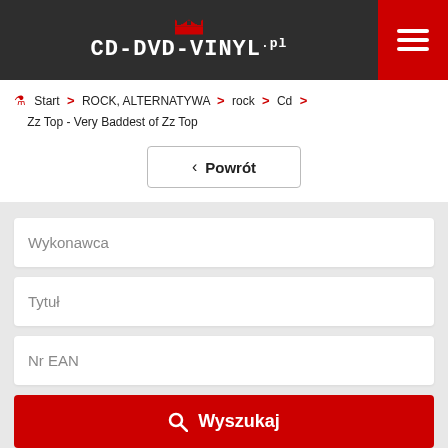CD-DVD-VINYL.pl
Start > ROCK, ALTERNATYWA > rock > Cd > Zz Top - Very Baddest of Zz Top
< Powrót
Wykonawca
Tytuł
Nr EAN
Wyszukaj